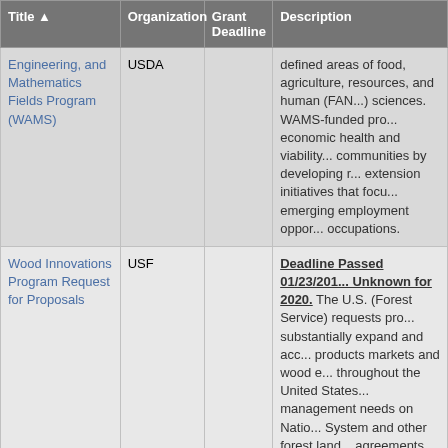| Title | Organization | Grant Deadline | Description |
| --- | --- | --- | --- |
| Engineering, and Mathematics Fields Program (WAMS) | USDA |  | defined areas of food, agriculture, resources, and human (FAN...) sciences. WAMS-funded pro... economic health and viability... communities by developing r... extension initiatives that focu... emerging employment oppor... occupations. |
| Wood Innovations Program Request for Proposals | USF |  | Deadline Passed 01/23/201... Unknown for 2020. The U.S. (Forest Service) requests pro... substantially expand and acc... products markets and wood e... throughout the United States... management needs on Natio... System and other forest land... agreements awarded under t... announcement will support th... Act of 2014 (Pub. L. 113-79)... Revitalization Technologies (... and the nationwide challenge... hazardous fuels and other... |